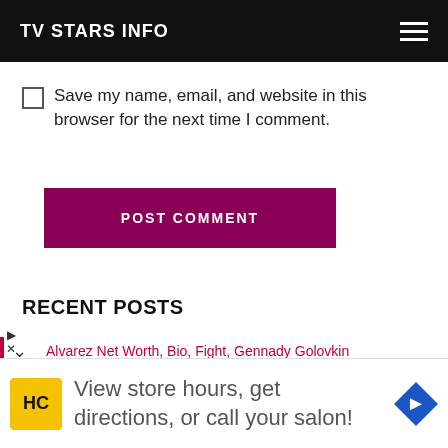TV STARS INFO
Save my name, email, and website in this browser for the next time I comment.
POST COMMENT
RECENT POSTS
Alvarez Net Worth, Bio, Fight, Gennady Golovkin
View store hours, get directions, or call your salon!